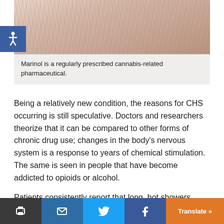[Figure (photo): Close-up photo of human skin/hand, showing skin texture and wrinkles]
Marinol is a regularly prescribed cannabis-related pharmaceutical.
Being a relatively new condition, the reasons for CHS occurring is still speculative. Doctors and researchers theorize that it can be compared to other forms of chronic drug use; changes in the body's nervous system is a response to years of chemical stimulation. The same is seen in people that have become addicted to opioids or alcohol.
Patients consistently report that long, hot showers